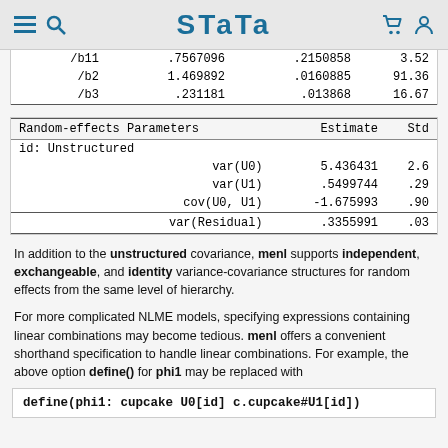Stata
|  |  |  |  |
| --- | --- | --- | --- |
| /b11 | .7567096 | .2150858 | 3.52 |
| /b2 | 1.469892 | .0160885 | 91.36 |
| /b3 | .231181 | .013868 | 16.67 |
| Random-effects Parameters | Estimate | Std |
| --- | --- | --- |
| id: Unstructured |  |  |
| var(U0) | 5.436431 | 2.6 |
| var(U1) | .5499744 | .29 |
| cov(U0, U1) | -1.675993 | .90 |
| var(Residual) | .3355991 | .03 |
In addition to the unstructured covariance, menl supports independent, exchangeable, and identity variance-covariance structures for random effects from the same level of hierarchy.
For more complicated NLME models, specifying expressions containing linear combinations may become tedious. menl offers a convenient shorthand specification to handle linear combinations. For example, the above option define() for phi1 may be replaced with
define(phi1: cupcake U0[id] c.cupcake#U1[id])